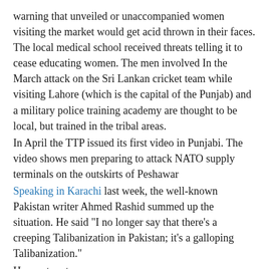warning that unveiled or unaccompanied women visiting the market would get acid thrown in their faces. The local medical school received threats telling it to cease educating women. The men involved In the March attack on the Sri Lankan cricket team while visiting Lahore (which is the capital of the Punjab) and a military police training academy are thought to be local, but trained in the tribal areas.
In April the TTP issued its first video in Punjabi. The video shows men preparing to attack NATO supply terminals on the outskirts of Peshawar
Speaking in Karachi last week, the well-known Pakistan writer Ahmed Rashid summed up the situation. He said "I no longer say that there's a creeping Talibanization in Pakistan; it's a galloping Talibanization."
He went on to say:
"The leadership of the Taliban is now in Pakistan, and they have stated their intention of overthrowing the government here. The Taliban are linking up with groups in Pakistan, and the Pakistani Taliban movement is turning into a multiethnic movement. Groups cultivated [by the Pakistani Army] to fight in Kashmir have joined up with the Pakistani Taliban, and include Punjabis, with organizations such as Lashkar-e-Taiba and Harkatul Mujahedeen